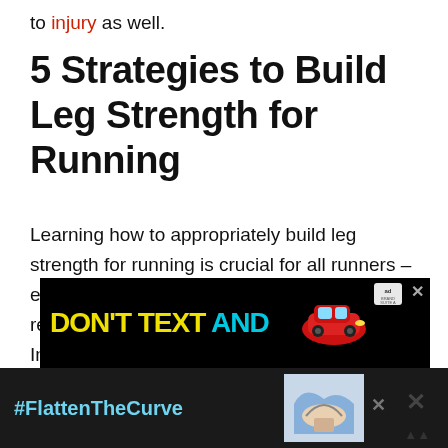to injury as well.
5 Strategies to Build Leg Strength for Running
Learning how to appropriately build leg strength for running is crucial for all runners – even those who are simply running recreationally as a way to stay in shape. Incorporating regular leg exercises for runners will help avoid imbalances, prevent injury, and assist in both increasing mileage and speed.
[Figure (other): Advertisement banner showing 'DON'T TEXT AND' text with car graphic and ad label]
[Figure (other): Bottom advertisement bar showing '#FlattenTheCurve' with handwashing image]